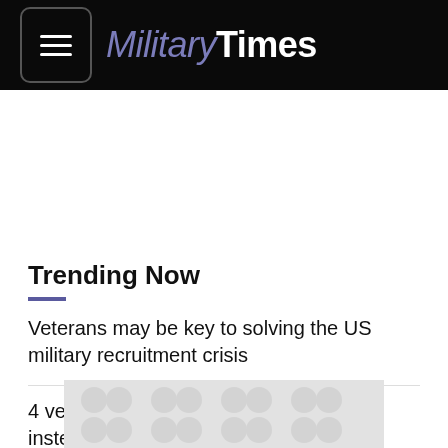MilitaryTimes
Trending Now
Veterans may be key to solving the US military recruitment crisis
4 vehicles troops can buy at 27% APR instead of a
[Figure (other): Advertisement banner placeholder with circular pattern texture]